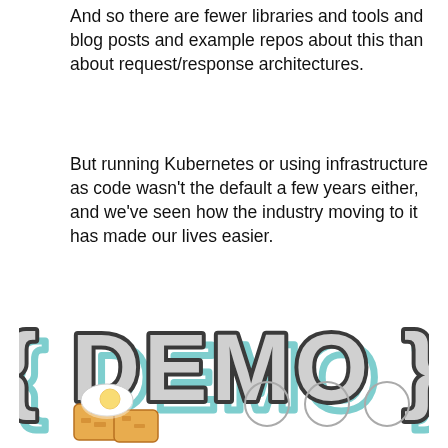And so there are fewer libraries and tools and blog posts and example repos about this than about request/response architectures.
But running Kubernetes or using infrastructure as code wasn't the default a few years either, and we've seen how the industry moving to it has made our lives easier.
[Figure (illustration): { DEMO } text styled as a hand-drawn illustration with curly braces and bold outlined letters, with a slight teal shadow effect]
[Figure (illustration): Footer area with a cartoon illustration of fried eggs on toast (breakfast emoji style) on the left, and three empty circles on the right (navigation dots)]